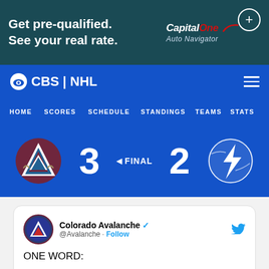[Figure (screenshot): Capital One Auto Navigator advertisement banner: 'Get pre-qualified. See your real rate.' with Capital One logo and Auto Navigator text, dark teal background]
[Figure (screenshot): CBS | NHL navigation bar with eye logo, hamburger menu, blue background]
[Figure (screenshot): NHL navigation links: HOME, SCORES, SCHEDULE, STANDINGS, TEAMS, STATS on blue background]
[Figure (screenshot): NHL game score display: Colorado Avalanche logo, score 3, FINAL, score 2, Tampa Bay Lightning logo on blue background]
[Figure (screenshot): Embedded tweet from Colorado Avalanche (@Avalanche): ONE WORD: #NAZTY]
ONE WORD:

#NAZTY